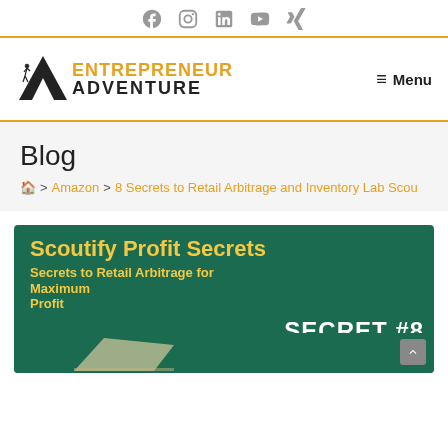Social icons: Facebook, Instagram, LinkedIn, YouTube, Xing
[Figure (logo): Entrepreneur Adventure logo with mountain icon and orange/black text]
≡ Menu
Blog
🏠 > Amazon > 8 Secrets to Retail Arbitrage and Inventory Lab Scou
[Figure (illustration): Scoutify Profit Secrets banner image on dark green background. Text: 'Scoutify Profit Secrets' in yellow, 'Secrets to Retail Arbitrage for Maximum Profit' in yellow, 'SECRET #8' in white. A chalk/pencil graphic at bottom.]